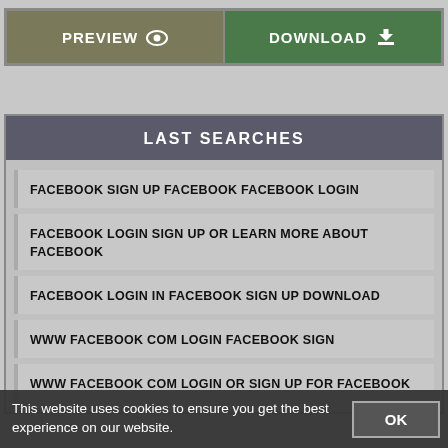[Figure (screenshot): Two buttons: PREVIEW (olive/dark green with eye icon) and DOWNLOAD (green with download arrow icon)]
LAST SEARCHES
FACEBOOK SIGN UP FACEBOOK FACEBOOK LOGIN
FACEBOOK LOGIN SIGN UP OR LEARN MORE ABOUT FACEBOOK
FACEBOOK LOGIN IN FACEBOOK SIGN UP DOWNLOAD
WWW FACEBOOK COM LOGIN FACEBOOK SIGN
WWW FACEBOOK COM LOGIN OR SIGN UP FOR FACEBOOK
This website uses cookies to ensure you get the best experience on our website.